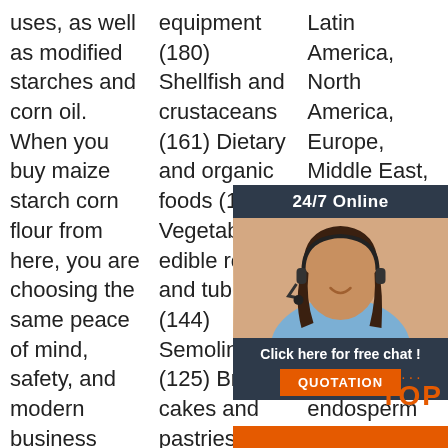uses, as well as modified starches and corn oil. When you buy maize starch corn flour from here, you are choosing the same peace of mind, safety, and modern business methods that millions have tried and tested
equipment (180) Shellfish and crustaceans (161) Dietary and organic foods (145) Vegetables, edible roots and tubers (144) Semolina (125) Bread, cakes and pastries (94) Bread, factory-baked (81) Pet foods
Latin America, North America, Europe, Middle East, Asia, Oceania. It is made up of the hard endosperm of corn kernels.
[Figure (photo): Advertisement overlay showing a woman with a headset smiling, with '24/7 Online' header, 'Click here for free chat!' text, and a 'QUOTATION' orange button. Also includes a TOP logo with orange dots.]